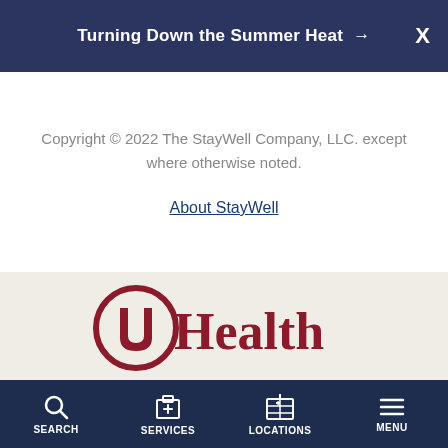Turning Down the Summer Heat →
Copyright © 2022 The StayWell Company, LLC. except where otherwise noted.
About StayWell
[Figure (logo): OU Health logo in dark red/crimson on light beige background]
SEARCH  SERVICES  LOCATIONS  MENU